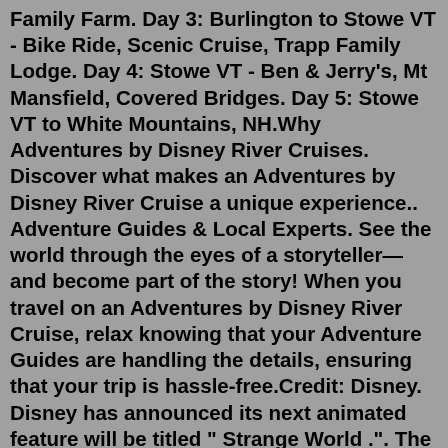Family Farm. Day 3: Burlington to Stowe VT - Bike Ride, Scenic Cruise, Trapp Family Lodge. Day 4: Stowe VT - Ben & Jerry's, Mt Mansfield, Covered Bridges. Day 5: Stowe VT to White Mountains, NH.Why Adventures by Disney River Cruises. Discover what makes an Adventures by Disney River Cruise a unique experience.. Adventure Guides & Local Experts. See the world through the eyes of a storyteller—and become part of the story! When you travel on an Adventures by Disney River Cruise, relax knowing that your Adventure Guides are handling the details, ensuring that your trip is hassle-free.Credit: Disney. Disney has announced its next animated feature will be titled " Strange World .". The original action-adventure is scheduled to debut around Thanksgiving 2022. The studio on ...Lightning Lane Entrance. Disney Genie+ and Individual Attraction Selections allow you to make plans for up to 12 people at a time and it is always showing the next available return time in the app. So, you won't have any advantage to getting the "best" Lightning Lane...